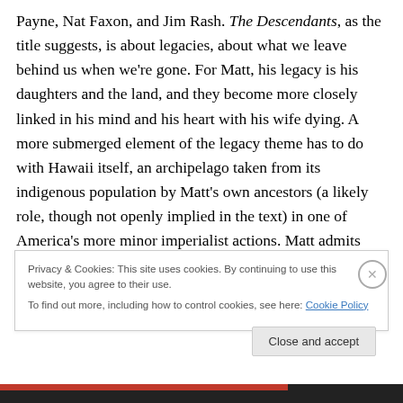Payne, Nat Faxon, and Jim Rash. The Descendants, as the title suggests, is about legacies, about what we leave behind us when we're gone. For Matt, his legacy is his daughters and the land, and they become more closely linked in his mind and his heart with his wife dying. A more submerged element of the legacy theme has to do with Hawaii itself, an archipelago taken from its indigenous population by Matt's own ancestors (a likely role, though not openly implied in the text) in one of America's more minor imperialist actions. Matt admits that he and his family are extremely haole, a complex and more than a
Privacy & Cookies: This site uses cookies. By continuing to use this website, you agree to their use.
To find out more, including how to control cookies, see here: Cookie Policy